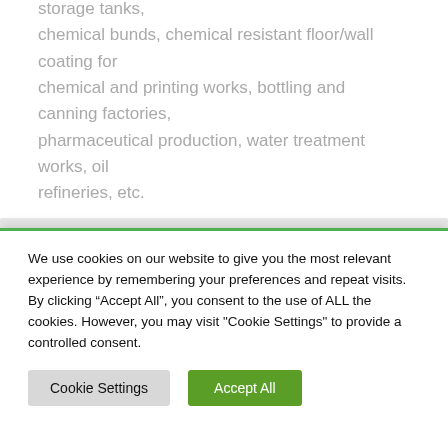storage tanks, chemical bunds, chemical resistant floor/wall coating for chemical and printing works, bottling and canning factories, pharmaceutical production, water treatment works, oil refineries, etc.
We use cookies on our website to give you the most relevant experience by remembering your preferences and repeat visits. By clicking “Accept All”, you consent to the use of ALL the cookies. However, you may visit "Cookie Settings" to provide a controlled consent.